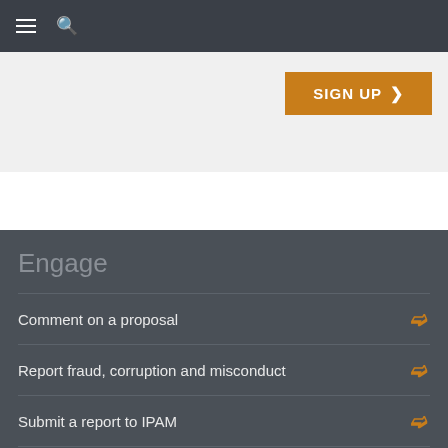Navigation bar with hamburger menu and search icon
[Figure (screenshot): SIGN UP button with orange background and right-pointing chevron]
Engage
Comment on a proposal
Report fraud, corruption and misconduct
Submit a report to IPAM
Give site feedback